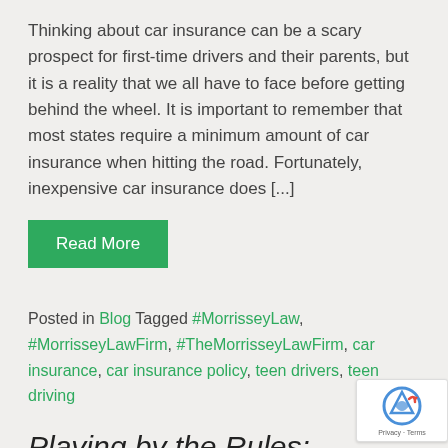Thinking about car insurance can be a scary prospect for first-time drivers and their parents, but it is a reality that we all have to face before getting behind the wheel. It is important to remember that most states require a minimum amount of car insurance when hitting the road. Fortunately, inexpensive car insurance does [...]
Read More
Posted in Blog Tagged #MorrisseyLaw, #MorrisseyLawFirm, #TheMorrisseyLawFirm, car insurance, car insurance policy, teen drivers, teen driving
Playing by the Rules: Motorcycl
Safety Tips